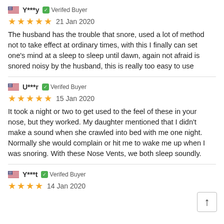Y***y  Verifed Buyer
21 Jan 2020
The husband has the trouble that snore, used a lot of method not to take effect at ordinary times, with this I finally can set one's mind at a sleep to sleep until dawn, again not afraid is snored noisy by the husband, this is really too easy to use
U***r  Verifed Buyer
15 Jan 2020
It took a night or two to get used to the feel of these in your nose, but they worked. My daughter mentioned that I didn't make a sound when she crawled into bed with me one night. Normally she would complain or hit me to wake me up when I was snoring. With these Nose Vents, we both sleep soundly.
Y***t  Verifed Buyer
14 Jan 2020